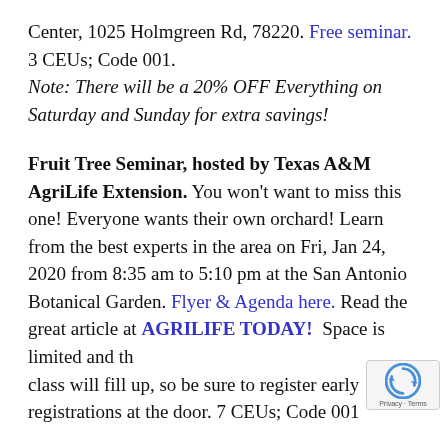Center, 1025 Holmgreen Rd, 78220. Free seminar. 3 CEUs; Code 001. Note: There will be a 20% OFF Everything on Saturday and Sunday for extra savings!
Fruit Tree Seminar, hosted by Texas A&M AgriLife Extension. You won't want to miss this one! Everyone wants their own orchard! Learn from the best experts in the area on Fri, Jan 24, 2020 from 8:35 am to 5:10 pm at the San Antonio Botanical Garden. Flyer & Agenda here. Read the great article at AGRILIFE TODAY! Space is limited and this class will fill up, so be sure to register early registrations at the door. 7 CEUs; Code 001